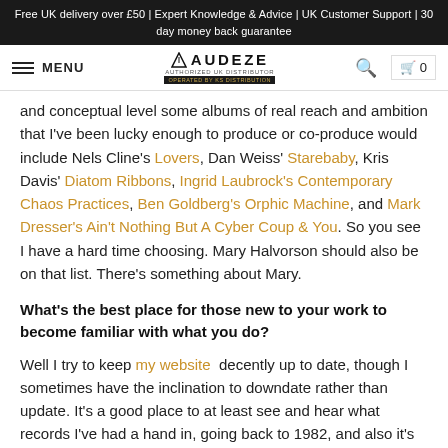Free UK delivery over £50 | Expert Knowledge & Advice | UK Customer Support | 30 day money back guarantee
[Figure (logo): Audeze Authorized UK Distributor logo with navigation menu, search and cart icons]
and conceptual level some albums of real reach and ambition that I've been lucky enough to produce or co-produce would include Nels Cline's Lovers, Dan Weiss' Starebaby, Kris Davis' Diatom Ribbons, Ingrid Laubrock's Contemporary Chaos Practices, Ben Goldberg's Orphic Machine, and Mark Dresser's Ain't Nothing But A Cyber Coup & You. So you see I have a hard time choosing. Mary Halvorson should also be on that list. There's something about Mary.
What's the best place for those new to your work to become familiar with what you do?
Well I try to keep my website decently up to date, though I sometimes have the inclination to downdate rather than update. It's a good place to at least see and hear what records I've had a hand in, going back to 1982, and also it's